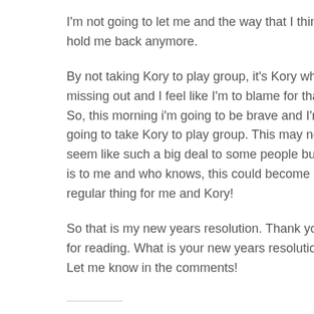I'm not going to let me and the way that I think, hold me back anymore.
By not taking Kory to play group, it's Kory who's missing out and I feel like I'm to blame for that. So, this morning i'm going to be brave and I'm going to take Kory to play group. This may not seem like such a big deal to some people but it is to me and who knows, this could become a regular thing for me and Kory!
So that is my new years resolution. Thank you for reading. What is your new years resolution? Let me know in the comments!